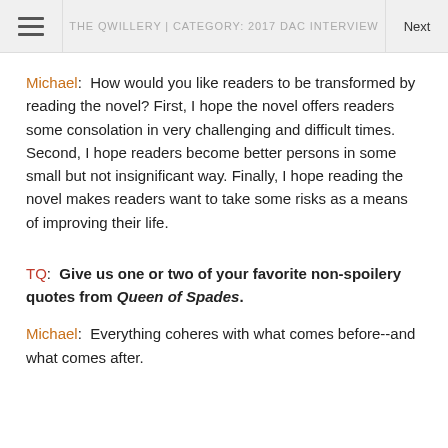THE QWILLERY | CATEGORY: 2017 DAC INTERVIEW
Michael:  How would you like readers to be transformed by reading the novel? First, I hope the novel offers readers some consolation in very challenging and difficult times. Second, I hope readers become better persons in some small but not insignificant way. Finally, I hope reading the novel makes readers want to take some risks as a means of improving their life.
TQ:  Give us one or two of your favorite non-spoilery quotes from Queen of Spades.
Michael:  Everything coheres with what comes before--and what comes after.